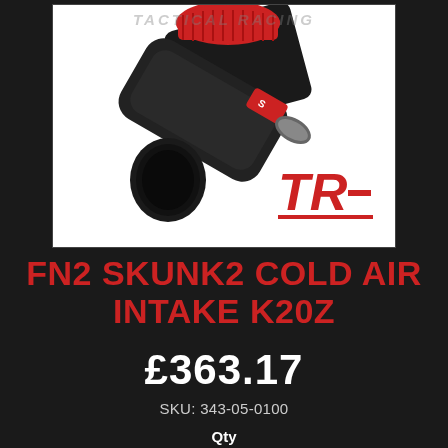[Figure (photo): Product photo of FN2 Skunk2 Cold Air Intake K20Z — black intake pipe with red air filter, on white background. Tactical Racing logo (TR) in red at bottom right of image.]
FN2 SKUNK2 COLD AIR INTAKE K20Z
£363.17
SKU: 343-05-0100
Qty